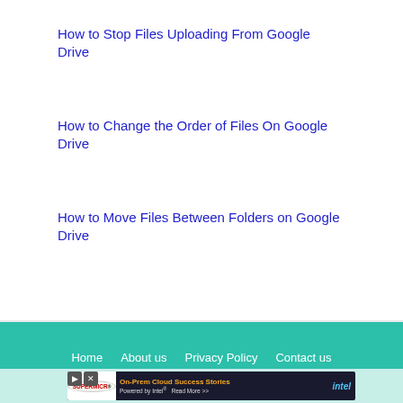How to Stop Files Uploading From Google Drive
How to Change the Order of Files On Google Drive
How to Move Files Between Folders on Google Drive
Home   About us   Privacy Policy   Contact us
[Figure (screenshot): Supermicro advertisement banner: On-Prem Cloud Success Stories Powered by Intel Read More >>]